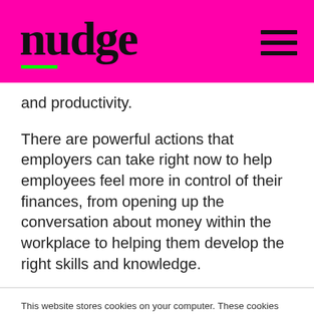nudge
and productivity.
There are powerful actions that employers can take right now to help employees feel more in control of their finances, from opening up the conversation about money within the workplace to helping them develop the right skills and knowledge.
This website stores cookies on your computer. These cookies are used to improve your website and provide more personalized services to you, both on this website and through other media. To find out more about the cookies we use, see our Privacy Policy.